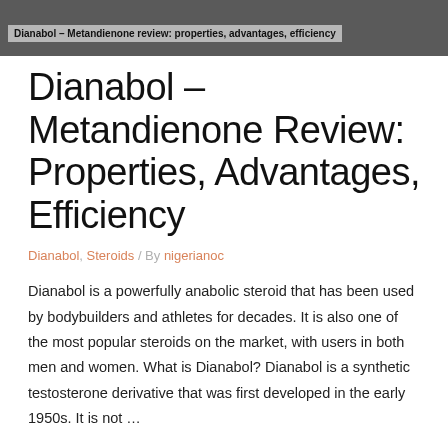Dianabol – Metandienone review: properties, advantages, efficiency
Dianabol – Metandienone Review: Properties, Advantages, Efficiency
Dianabol, Steroids / By nigerianoc
Dianabol is a powerfully anabolic steroid that has been used by bodybuilders and athletes for decades. It is also one of the most popular steroids on the market, with users in both men and women. What is Dianabol? Dianabol is a synthetic testosterone derivative that was first developed in the early 1950s. It is not …
Read More »